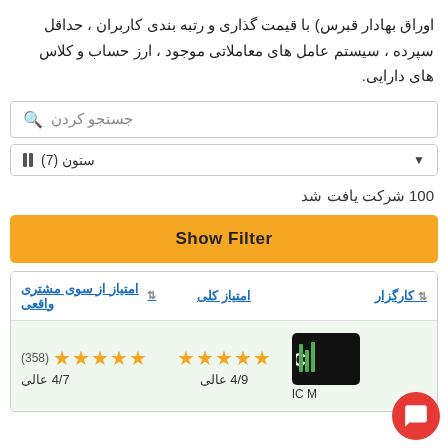اوراق بهادار قبرس) با قیمت گذاری و رتبه بندی کاربران ، حداقل سپرده ، سیستم عامل های معاملاتی موجود ، ارز حساب و کلاس های دارایی.
جستجو کردن
ستون (7)
100 شرکت یافت شد
Show Filter
| کارگزار | امتیاز کلی | امتیاز از سوی مشتری واقعی |
| --- | --- | --- |
| IC M | 4/9 عالی ★★★★★ | (358) ★★★★★ 4/7 عالی |